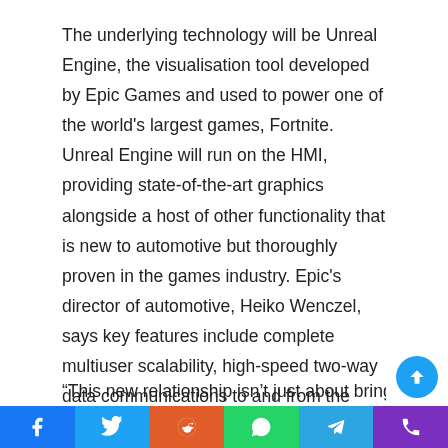The underlying technology will be Unreal Engine, the visualisation tool developed by Epic Games and used to power one of the world's largest games, Fortnite. Unreal Engine will run on the HMI, providing state-of-the-art graphics alongside a host of other functionality that is new to automotive but thoroughly proven in the games industry. Epic's director of automotive, Heiko Wenczel, says key features include complete multiuser scalability, high-speed two-way data communications to and from the cloud and integrated data security systems. Unreal Engine's software is also optimised to run across a wide range of computer platforms including relatively low power devices, so is ideal for the tightly-packaged, cost-sensitive HMI hardware required for automotive applications.
“This new relationship isn’t just about bringing astonishing